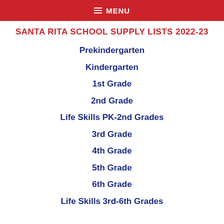≡ MENU
SANTA RITA SCHOOL SUPPLY LISTS 2022-23
Prekindergarten
Kindergarten
1st Grade
2nd Grade
Life Skills PK-2nd Grades
3rd Grade
4th Grade
5th Grade
6th Grade
Life Skills 3rd-6th Grades